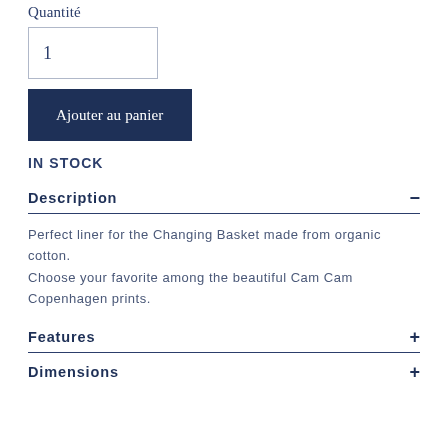Quantité
1
Ajouter au panier
IN STOCK
Description
Perfect liner for the Changing Basket made from organic cotton.
Choose your favorite among the beautiful Cam Cam Copenhagen prints.
Features
Dimensions